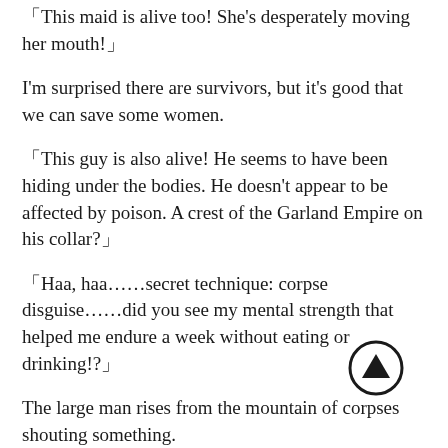「This maid is alive too! She’s desperately moving her mouth!」
I’m surprised there are survivors, but it’s good that we can save some women.
「This guy is also alive! He seems to have been hiding under the bodies. He doesn’t appear to be affected by poison. A crest of the Garland Empire on his collar?」
「Haa, haa……secret technique: corpse disguise……did you see my mental strength that helped me endure a week without eating or drinking!?」
The large man rises from the mountain of corpses shouting something.
My vision is getting hazy. I’ll just sleep for a bit.